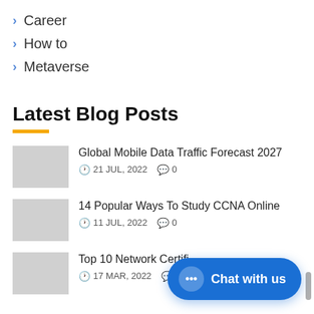Career
How to
Metaverse
Latest Blog Posts
Global Mobile Data Traffic Forecast 2027
21 JUL, 2022  0
14 Popular Ways To Study CCNA Online
11 JUL, 2022  0
Top 10 Network Certifi...
17 MAR, 2022  0